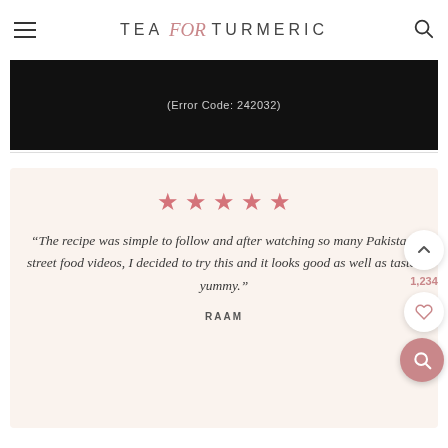TEA for TURMERIC
[Figure (screenshot): Video player error showing black screen with text: (Error Code: 242032)]
“The recipe was simple to follow and after watching so many Pakistani street food videos, I decided to try this and it looks good as well as tastes yummy.”
RAAM